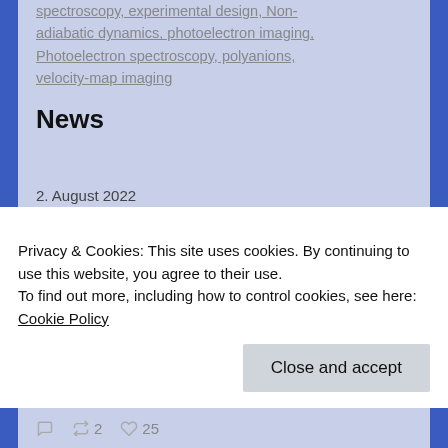spectroscopy, experimental design, Non-adiabatic dynamics, photoelectron imaging, Photoelectron spectroscopy, polyanions, velocity-map imaging
News
2. August 2022
Our latest paper comparing continuous and pulsed laser-based desorption (LIAD) methods is out now in Eur.Phys.J. D - well done Siwen! https://bit.ly/3cYM5tc
cookie banner: Privacy & Cookies: This site uses cookies. By continuing to use this website, you agree to their use. To find out more, including how to control cookies, see here: Cookie Policy
Close and accept